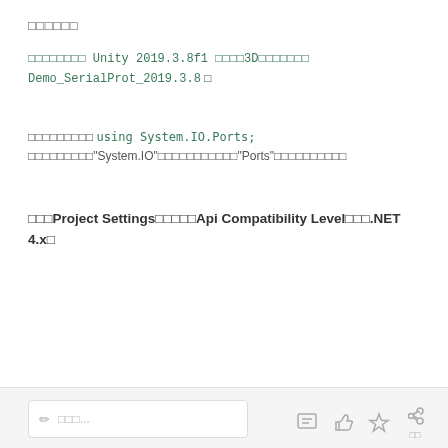□□□□□□
□□□□□□□□ Unity 2019.3.8f1 □□□□3D□□□□□□□ Demo_SerialProt_2019.3.8 □
□□□□□□□□□ using System.IO.Ports; □□□□□□□□□"System.IO"□□□□□□□□□□□"Ports"□□□□□□□□□□
□□□Project Settings□□□□□Api Compatibility Level□□□.NET 4.x□